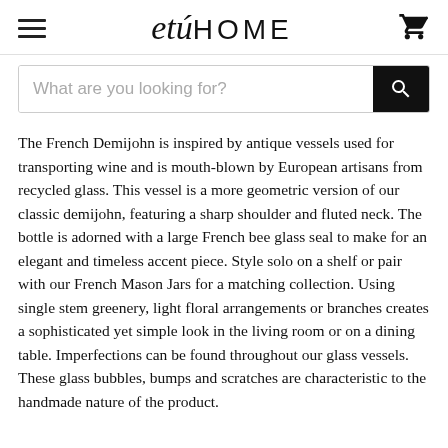etuHOME
What are you looking for?
The French Demijohn is inspired by antique vessels used for transporting wine and is mouth-blown by European artisans from recycled glass. This vessel is a more geometric version of our classic demijohn, featuring a sharp shoulder and fluted neck. The bottle is adorned with a large French bee glass seal to make for an elegant and timeless accent piece. Style solo on a shelf or pair with our French Mason Jars for a matching collection. Using single stem greenery, light floral arrangements or branches creates a sophisticated yet simple look in the living room or on a dining table. Imperfections can be found throughout our glass vessels. These glass bubbles, bumps and scratches are characteristic to the handmade nature of the product.